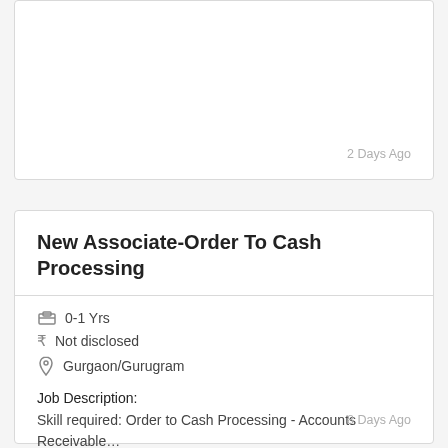2 Days Ago
New Associate-Order To Cash Processing
0-1 Yrs
Not disclosed
Gurgaon/Gurugram
Job Description:
Skill required: Order to Cash Processing - Accounts Receivable…
8 Days Ago